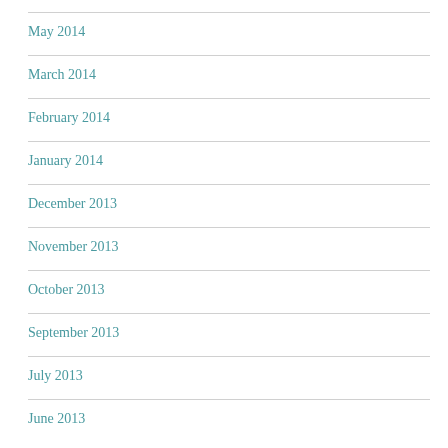May 2014
March 2014
February 2014
January 2014
December 2013
November 2013
October 2013
September 2013
July 2013
June 2013